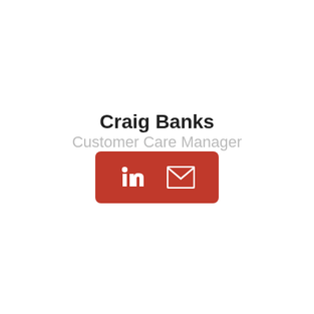Craig Banks
Customer Care Manager
[Figure (infographic): Red rounded rectangle button containing a LinkedIn icon (in) and an email envelope icon, both in white, side by side.]